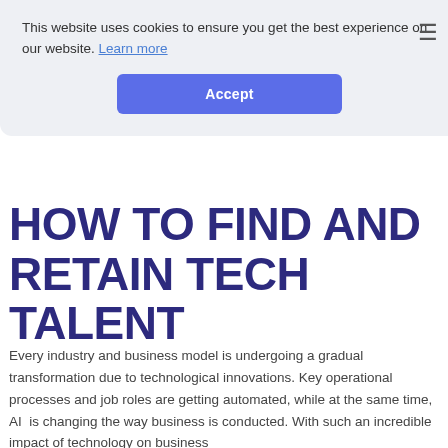This website uses cookies to ensure you get the best experience on our website. Learn more
Accept
HOW TO FIND AND RETAIN TECH TALENT
Every industry and business model is undergoing a gradual transformation due to technological innovations. Key operational processes and job roles are getting automated, while at the same time, AI  is changing the way business is conducted. With such an incredible impact of technology on business